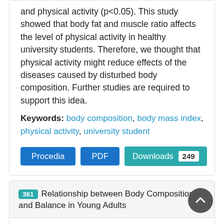and physical activity (p<0.05). This study showed that body fat and muscle ratio affects the level of physical activity in healthy university students. Therefore, we thought that physical activity might reduce effects of the diseases caused by disturbed body composition. Further studies are required to support this idea.
Keywords: body composition, body mass index, physical activity, university student
Procedia | PDF | Downloads 249
361 Relationship between Body Composition and Balance in Young Adults
Authors: Ferruh Taspinar, Gulce K. Seyyar, Gamze Kurt, Eda O. Okur, Emrah Afsar, Ismail Saracoglu, Betul Taspinar